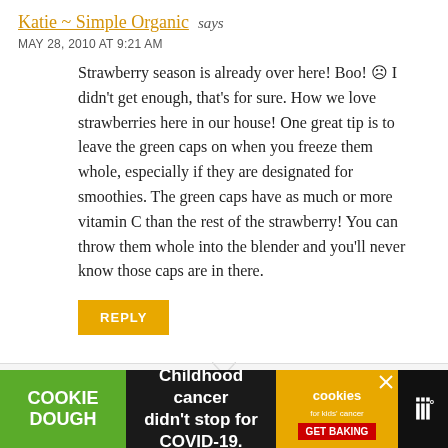Katie ~ Simple Organic says
MAY 28, 2010 AT 9:21 AM
Strawberry season is already over here! Boo! 🙁 I didn't get enough, that's for sure. How we love strawberries here in our house! One great tip is to leave the green caps on when you freeze them whole, especially if they are designated for smoothies. The green caps have as much or more vitamin C than the rest of the strawberry! You can throw them whole into the blender and you'll never know those caps are in there.
REPLY
Pam says
[Figure (other): Advertisement banner: Cookie Dough / Childhood cancer didn't stop for COVID-19 / cookies for kids cancer GET BAKING]